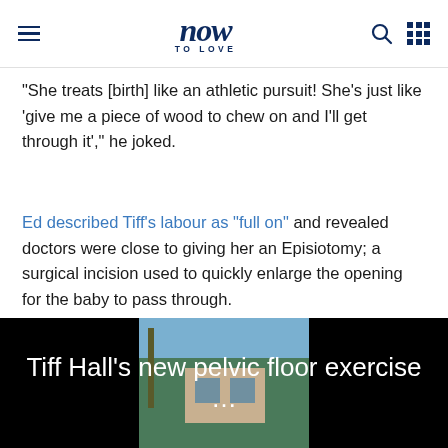now TO LOVE
"She treats [birth] like an athletic pursuit! She's just like 'give me a piece of wood to chew on and I'll get through it'," he joked.
Ed described Tiff's labour as "full on" and revealed doctors were close to giving her an Episiotomy; a surgical incision used to quickly enlarge the opening for the baby to pass through.
"They were both getting a bit tired," he said.
[Figure (screenshot): Video thumbnail showing 'Tiff Hall's new pelvic floor exercise ...' with a house and palm trees image in center on black background]